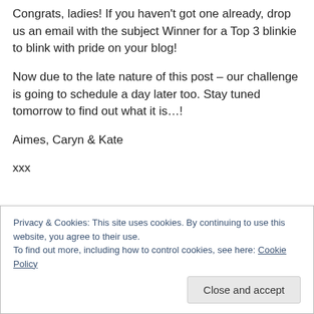Congrats, ladies! If you haven't got one already, drop us an email with the subject Winner for a Top 3 blinkie to blink with pride on your blog!
Now due to the late nature of this post – our challenge is going to schedule a day later too. Stay tuned tomorrow to find out what it is…!
Aimes, Caryn & Kate
xxx
Privacy & Cookies: This site uses cookies. By continuing to use this website, you agree to their use.
To find out more, including how to control cookies, see here: Cookie Policy
Close and accept